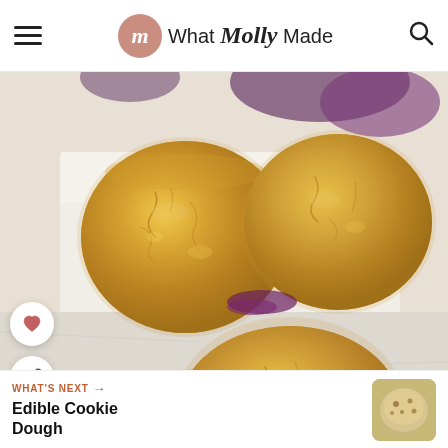What Molly Made
[Figure (photo): Overhead view of golden-brown biscuits on white parchment paper with purple fruit preserves/jam visible around the edges, on a marble surface. Two large round biscuits visible in the upper portion and one large biscuit visible in the lower portion.]
WHAT'S NEXT → Edible Cookie Dough